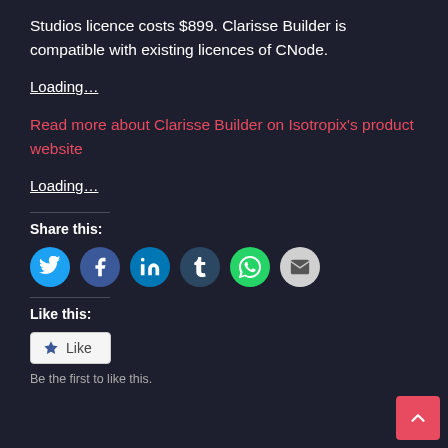Studios licence costs $899. Clarisse Builder is compatible with existing licences of CNode.
Loading…
Read more about Clarisse Builder on Isotropix's product website
Loading…
Share this:
[Figure (other): Social share icons: Twitter, Facebook, LinkedIn, Tumblr, WhatsApp, Email]
Like this:
[Figure (other): WordPress Like button widget with star icon and 'Like' text]
Be the first to like this.